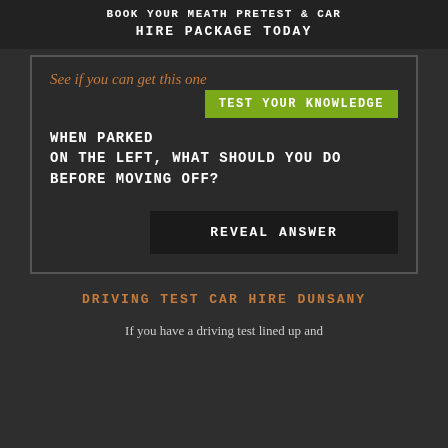BOOK YOUR MEATH PRETEST & CAR HIRE PACKAGE TODAY
See if you can get this one TEST YOUR KNOWLEDGE WHEN PARKED ON THE LEFT, WHAT SHOULD YOU DO BEFORE MOVING OFF?
REVEAL ANSWER
DRIVING TEST CAR HIRE DUNSANY
If you have a driving test lined up and